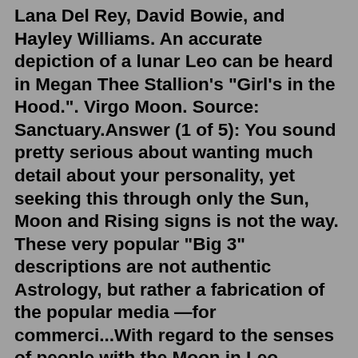Lana Del Rey, David Bowie, and Hayley Williams. An accurate depiction of a lunar Leo can be heard in Megan Thee Stallion's "Girl's in the Hood.". Virgo Moon. Source: Sanctuary.Answer (1 of 5): You sound pretty serious about wanting much detail about your personality, yet seeking this through only the Sun, Moon and Rising signs is not the way. These very popular "Big 3" descriptions are not authentic Astrology, but rather a fabrication of the popular media —for commerci...With regard to the senses of people with the Moon in Leo, generally speaking, the sight is the best developed, but all the other senses should be thoroughly well balanced and healthy. A certain degree, however, of interest and even of affection for any subject must exist before the senses can give true and full communication.Apr 24, 2021 · Planetary Relationship. When Sun is in Leo while Moon is in Gemini, the 11th and 3rd dispositions are created between these planets. More specifically, Gemini Moon is in the 11th sign from Leo Sun. When taking Moon as the reference point, then Leo Sun is in